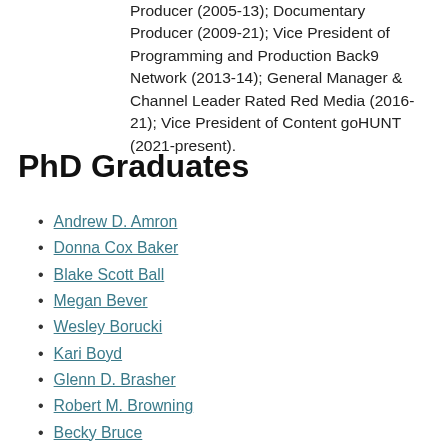Producer (2005-13); Documentary Producer (2009-21); Vice President of Programming and Production Back9 Network (2013-14); General Manager & Channel Leader Rated Red Media (2016-21); Vice President of Content goHUNT (2021-present).
PhD Graduates
Andrew D. Amron
Donna Cox Baker
Blake Scott Ball
Megan Bever
Wesley Borucki
Kari Boyd
Glenn D. Brasher
Robert M. Browning
Becky Bruce
Daniel J. Burge
Patrick W. Cecil